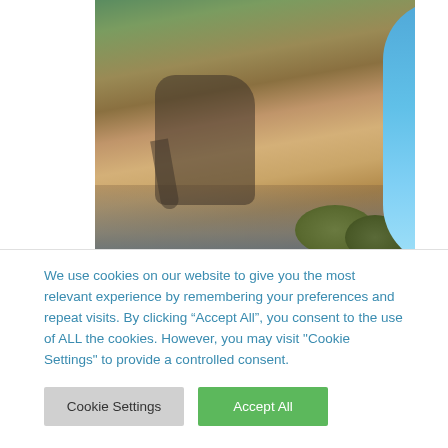[Figure (photo): Baby elephant standing in shallow water near mossy rocks, with greenery in background. A partial blue circular shape is visible on the far right edge.]
NOTICING THE NUDGES
Have you ever been pondering
We use cookies on our website to give you the most relevant experience by remembering your preferences and repeat visits. By clicking “Accept All”, you consent to the use of ALL the cookies. However, you may visit "Cookie Settings" to provide a controlled consent.